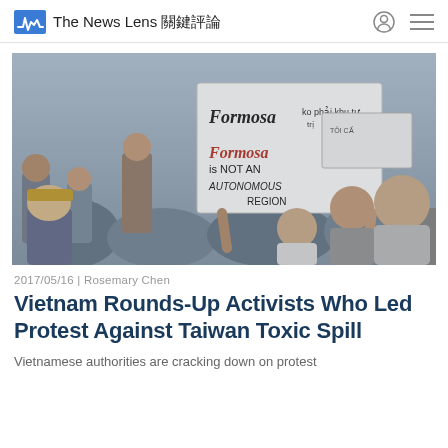The News Lens 關鍵評論
[Figure (photo): A crowd of Vietnamese protesters, one person holding a large sign reading 'Formosa ko phải khu tự trị' and 'Formosa is NOT AN AUTONOMOUS REGION']
2017/05/16 | Rosemary Chen
Vietnam Rounds-Up Activists Who Led Protest Against Taiwan Toxic Spill
Vietnamese authorities are cracking down on protest